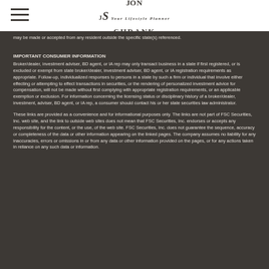Jon Schrank Your Lifestyle Planner
may be made or accepted from any resident outside the specific state(s) referenced.
IMPORTANT CONSUMER INFORMATION
Broker/dealer, investment adviser, BD agent, or IA rep may only transact business in a state if first registered, or is excluded or exempt from state broker/dealer, investment adviser, BD agent, or IA registration requirements as appropriate. Follow-up, individualized responses to persons in a state by such a firm or individual that involve either effecting or attempting to effect transactions in securities, or the rendering of personalized investment advice for compensation, will not be made without first complying with appropriate registration requirements, or an applicable exemption or exclusion. For information concerning the licensing status or disciplinary history of a broker/dealer, investment, adviser, BD agent, or IA rep, a consumer should contact his or her state securities law administrator.
These links are provided as a convenience and for informational purposes only. The links are not part of FSC Securities, Inc. web site, and the link to outside web sites does not mean that FSC Securities, Inc. endorses or accepts any responsibility for the content, or the use, of the web site. FSC Securities, Inc. does not guarantee the sequence, accuracy or completeness of the data or other information appearing on the linked pages. The company assumes no liability for any inaccuracies, errors or omissions in or from any data or other information provided on the pages, or for any actions taken in reliance on any such data or information.